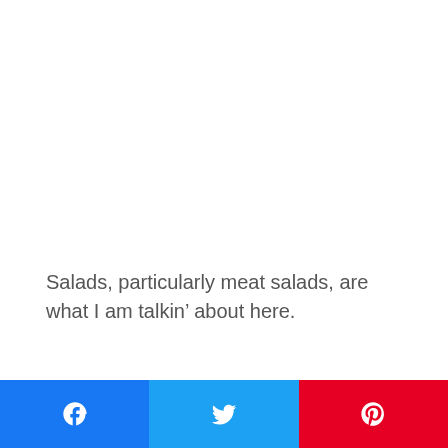Salads, particularly meat salads, are what I am talkin’ about here.
Actually they are recipes, but what I am saying is the “recipe” is not written down, it is just handed
[Figure (other): Social share buttons row: Facebook (blue), Twitter (light blue), Pinterest (red)]